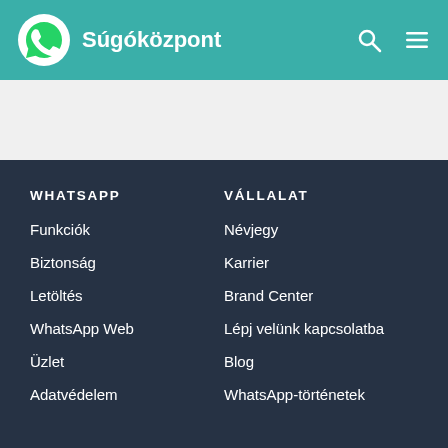Súgóközpont
WHATSAPP
Funkciók
Biztonság
Letöltés
WhatsApp Web
Üzlet
Adatvédelem
VÁLLALAT
Névjegy
Karrier
Brand Center
Lépj velünk kapcsolatba
Blog
WhatsApp-történetek